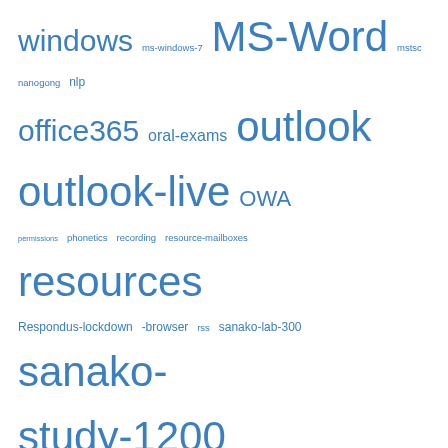windows ms-windows-7 MS-Word mstsc nanogong nlp office365 oral-exams outlook outlook-live OWA permissions phonetics recording resource-mailboxes resources Respondus-lockdown -browser rss sanako-lab-300 sanako-study-1200 scheduling screensharing sdl-trados sharing speech-recognition student.exe symantec-ghost text-to-speech timestretching trpQuiz us-international VBA video videos windows windows-7 wordpress xp
Categories
Area-is-any (194)
Back office (10)
Coed432 (2)